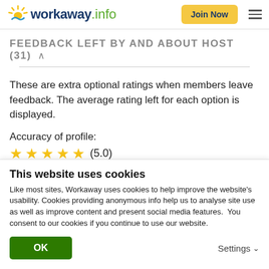[Figure (logo): Workaway.info logo with sun graphic, Join Now button, and hamburger menu]
FEEDBACK LEFT BY AND ABOUT HOST (31)
These are extra optional ratings when members leave feedback. The average rating left for each option is displayed.
Accuracy of profile:
[Figure (other): 5 gold stars rating (5.0)]
Cultural exchange:
This website uses cookies
Like most sites, Workaway uses cookies to help improve the website's usability. Cookies providing anonymous info help us to analyse site use as well as improve content and present social media features.  You consent to our cookies if you continue to use our website.